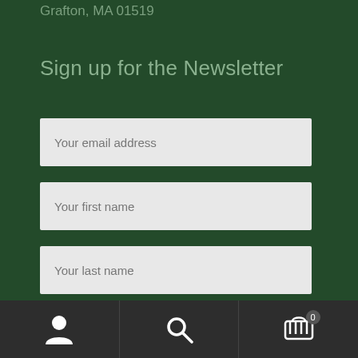Grafton, MA 01519
Sign up for the Newsletter
Your email address
Your first name
Your last name
Subscribe
[Figure (infographic): Bottom navigation bar with user/account icon, search icon, and shopping cart icon with badge showing 0]